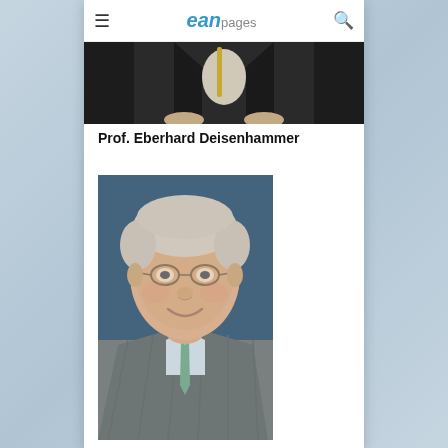eanpages
[Figure (photo): Top cropped photo of a person partially visible, wearing dark jacket]
Prof. Eberhard Deisenhammer
[Figure (photo): Portrait photo of Prof. Eberhard Deisenhammer, an older gentleman with white/grey hair, glasses, smiling, wearing a grey striped suit and green tie, against a blue background]